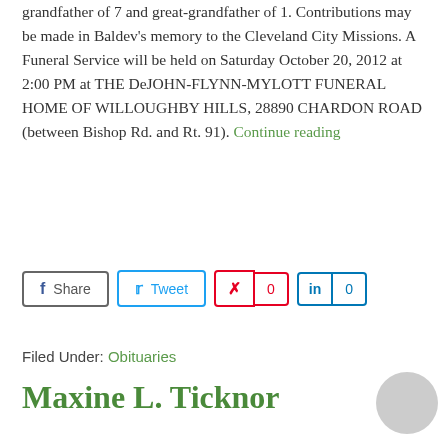grandfather of 7 and great-grandfather of 1. Contributions may be made in Baldev's memory to the Cleveland City Missions. A Funeral Service will be held on Saturday October 20, 2012 at 2:00 PM at THE DeJOHN-FLYNN-MYLOTT FUNERAL HOME OF WILLOUGHBY HILLS, 28890 CHARDON ROAD (between Bishop Rd. and Rt. 91). Continue reading
Filed Under: Obituaries
Maxine L. Ticknor